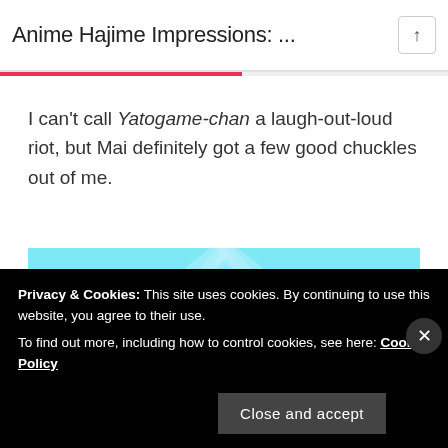Anime Hajime Impressions: ...
I can't call Yatogame-chan a laugh-out-loud riot, but Mai definitely got a few good chuckles out of me.
[Figure (illustration): Anime screenshot showing an orange/blonde anime character against a light blue background with white ray lines.]
Privacy & Cookies: This site uses cookies. By continuing to use this website, you agree to their use. To find out more, including how to control cookies, see here: Cookie Policy
Close and accept